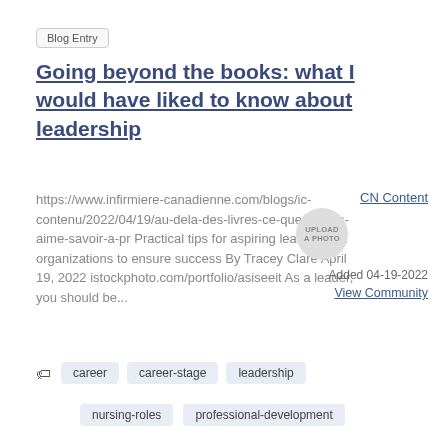Blog Entry
Going beyond the books: what I would have liked to know about leadership
https://www.infirmiere-canadienne.com/blogs/ic-contenu/2022/04/19/au-dela-des-livres-ce-que-jaurais-aime-savoir-a-pr Practical tips for aspiring leaders and organizations to ensure success By Tracey Clare April 19, 2022 istockphoto.com/portfolio/asiseeit As a leader, you should be...
CN Content
Added 04-19-2022
View Community
career
career-stage
leadership
nursing-roles
professional-development